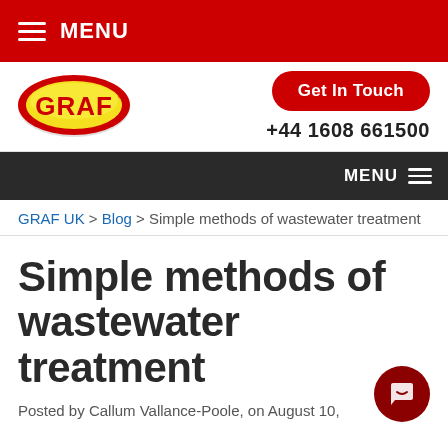MENU
[Figure (logo): GRAF logo - oval yellow/red brand logo]
Get In Touch
+44 1608 661500
MENU
GRAF UK > Blog > Simple methods of wastewater treatment
Simple methods of wastewater treatment
Posted by Callum Vallance-Poole, on August 10,